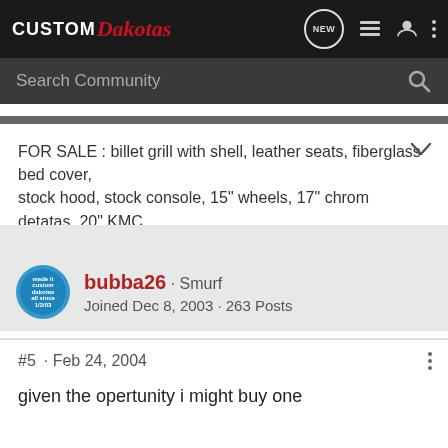CUSTOM Dakotas — navigation bar with search community
FOR SALE : billet grill with shell, leather seats, fiberglass bed cover, stock hood, stock console, 15" wheels, 17" chrom detatas, 20" KMC
bubba26 · Smurf
Joined Dec 8, 2003 · 263 Posts
#5 · Feb 24, 2004
given the opertunity i might buy one